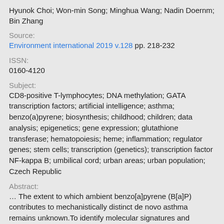Hyunok Choi; Won-min Song; Minghua Wang; Nadin Doernm; Bin Zhang
Source:
Environment international 2019 v.128 pp. 218-232
ISSN:
0160-4120
Subject:
CD8-positive T-lymphocytes; DNA methylation; GATA transcription factors; artificial intelligence; asthma; benzo(a)pyrene; biosynthesis; childhood; children; data analysis; epigenetics; gene expression; glutathione transferase; hematopoiesis; heme; inflammation; regulator genes; stem cells; transcription (genetics); transcription factor NF-kappa B; umbilical cord; urban areas; urban population; Czech Republic
Abstract:
... The extent to which ambient benzo[a]pyrene (B[a]P) contributes to mechanistically distinct de novo asthma remains unknown.To identify molecular signatures and